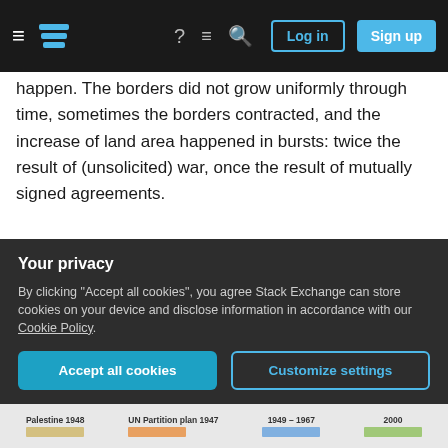Stack Exchange navigation bar with Log in and Sign up buttons
happen. The borders did not grow uniformly through time, sometimes the borders contracted, and the increase of land area happened in bursts: twice the result of (unsolicited) war, once the result of mutually signed agreements.
As Sklivvz points out in the end of his answer: "It would be wildly misleading, though, not to mention that Israel was involved in many of these wars as a defending party and that they have been giving back control to the Palestinian National Authority of some of the land".
Your privacy
By clicking “Accept all cookies”, you agree Stack Exchange can store cookies on your device and disclose information in accordance with our Cookie Policy.
Accept all cookies
Customize settings
[Figure (other): Bottom image strip showing Palestine 1948, UN Partition plan 1947, 1949-1967, 2000 map labels]